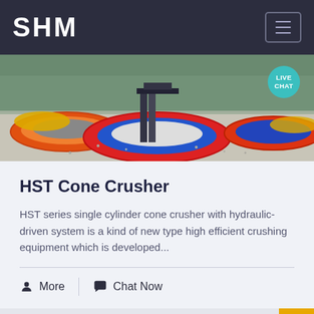SHM
[Figure (photo): Industrial cone crusher machinery with colorful red, blue, yellow and orange ring components, photographed from above. A 'LIVE CHAT' bubble is overlaid on the top right.]
HST Cone Crusher
HST series single cylinder cone crusher with hydraulic-driven system is a kind of new type high efficient crushing equipment which is developed...
More   Chat Now
[Figure (photo): Bottom partial image of an industrial interior structure, steel beams and ceiling visible.]